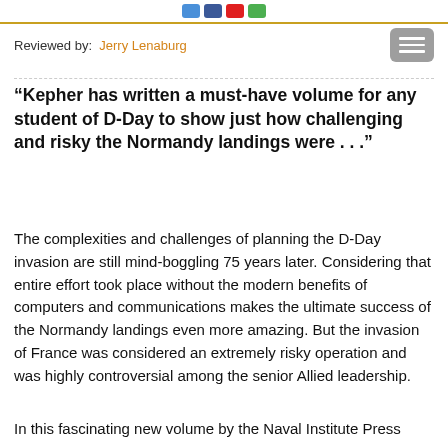Reviewed by: Jerry Lenaburg
“Kepher has written a must-have volume for any student of D-Day to show just how challenging and risky the Normandy landings were . . .”
The complexities and challenges of planning the D-Day invasion are still mind-boggling 75 years later. Considering that entire effort took place without the modern benefits of computers and communications makes the ultimate success of the Normandy landings even more amazing. But the invasion of France was considered an extremely risky operation and was highly controversial among the senior Allied leadership.
In this fascinating new volume by the Naval Institute Press